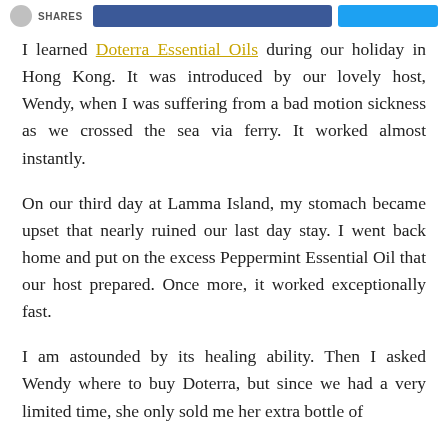SHARES
I learned Doterra Essential Oils during our holiday in Hong Kong. It was introduced by our lovely host, Wendy, when I was suffering from a bad motion sickness as we crossed the sea via ferry. It worked almost instantly.
On our third day at Lamma Island, my stomach became upset that nearly ruined our last day stay. I went back home and put on the excess Peppermint Essential Oil that our host prepared. Once more, it worked exceptionally fast.
I am astounded by its healing ability. Then I asked Wendy where to buy Doterra, but since we had a very limited time, she only sold me her extra bottle of